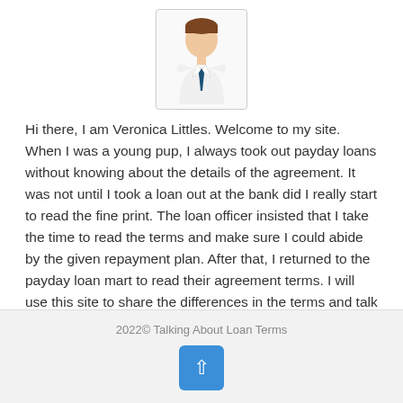[Figure (illustration): Avatar illustration of a man in a white shirt and dark tie, shown from the shoulders up, with brown hair, inside a light gray bordered box.]
Hi there, I am Veronica Littles. Welcome to my site. When I was a young pup, I always took out payday loans without knowing about the details of the agreement. It was not until I took a loan out at the bank did I really start to read the fine print. The loan officer insisted that I take the time to read the terms and make sure I could abide by the given repayment plan. After that, I returned to the payday loan mart to read their agreement terms. I will use this site to share the differences in the terms and talk about strategies for repayment. Thank you.
2022© Talking About Loan Terms